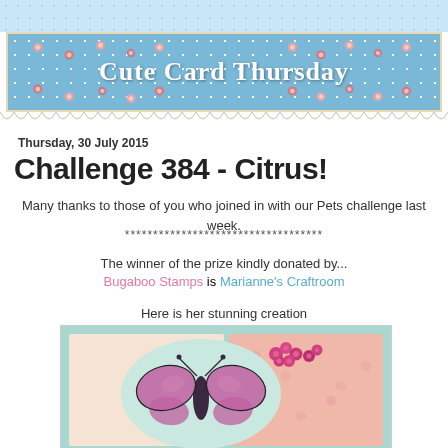Cute Card Thursday
Thursday, 30 July 2015
Challenge 384 - Citrus!
Many thanks to those of you who joined in with our Pets challenge last week.
***********************************
The winner of the prize kindly donated by...
Bugaboo Stamps is Marianne's Craftroom
Here is her stunning creation
[Figure (photo): A handmade greeting card featuring a large purple butterfly and pink roses on a mint/teal oval background with patterned paper.]